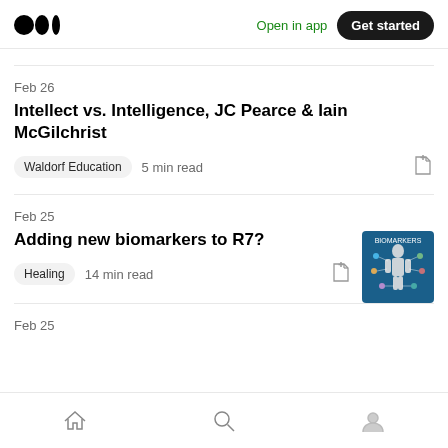Medium logo | Open in app | Get started
Feb 26
Intellect vs. Intelligence, JC Pearce & Iain McGilchrist
Waldorf Education   5 min read
Feb 25
Adding new biomarkers to R7?
Healing   14 min read
Feb 25
Home | Search | Profile